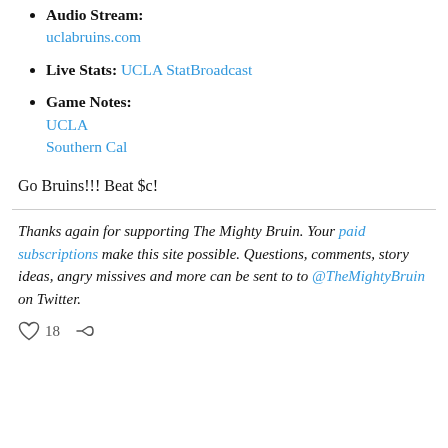Audio Stream: uclabruins.com
Live Stats: UCLA StatBroadcast
Game Notes: UCLA Southern Cal
Go Bruins!!! Beat $c!
Thanks again for supporting The Mighty Bruin. Your paid subscriptions make this site possible. Questions, comments, story ideas, angry missives and more can be sent to to @TheMightyBruin on Twitter.
18